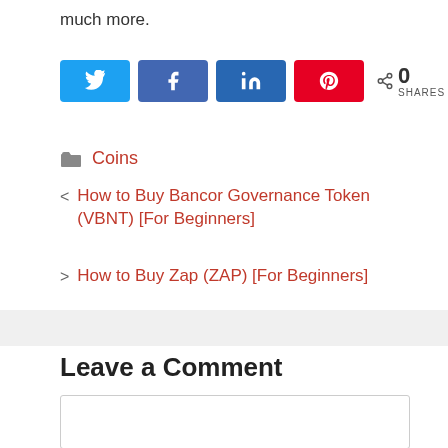much more.
[Figure (infographic): Social share buttons: Twitter (blue), Facebook (blue), LinkedIn (dark blue), Pinterest (red), and a share count showing 0 SHARES]
Coins
< How to Buy Bancor Governance Token (VBNT) [For Beginners]
> How to Buy Zap (ZAP) [For Beginners]
Leave a Comment